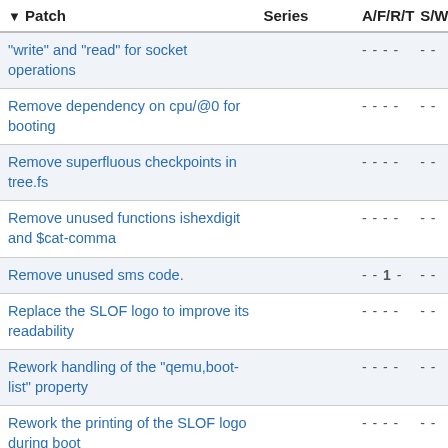| Patch | Series | A/F/R/T | S/W |
| --- | --- | --- | --- |
| "write" and "read" for socket operations |  | - - - - | - - |
| Remove dependency on cpu/@0 for booting |  | - - - - | - - |
| Remove superfluous checkpoints in tree.fs |  | - - - - | - - |
| Remove unused functions ishexdigit and $cat-comma |  | - - - - | - - |
| Remove unused sms code. |  | - - 1 - | - - |
| Replace the SLOF logo to improve its readability |  | - - - - | - - |
| Rework handling of the "qemu,boot-list" property |  | - - - - | - - |
| Rework the printing of the SLOF logo during boot |  | - - - - | - - |
| Silence some trivial compiler warning in the js2x code | Silence some trivial compiler warning in the js2x code | - - - - | - - |
| Use TYPE for the standard |  |  |  |